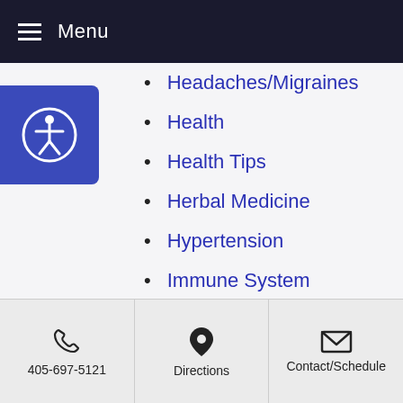Menu
Headaches/Migraines
Health
Health Tips
Herbal Medicine
Hypertension
Immune System
infertility
Inflammation
Insomnia
kidney
Liver
405-697-5121 | Directions | Contact/Schedule